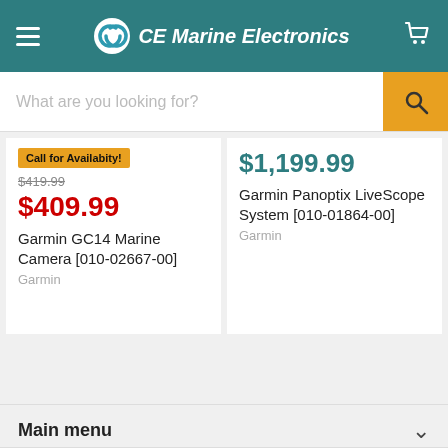CE Marine Electronics
What are you looking for?
Call for Availabity! $419.99 $409.99 Garmin GC14 Marine Camera [010-02667-00] Garmin
$1,199.99 Garmin Panoptix LiveScope System [010-01864-00] Garmin
Main menu